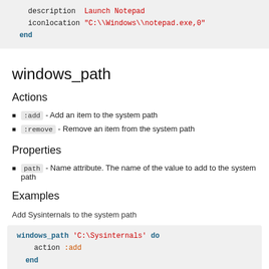[Figure (screenshot): Code block showing 'description' and 'iconlocation' properties with string value 'C:\Windows\notepad.exe,0' and 'end' keyword]
windows_path
Actions
:add - Add an item to the system path
:remove - Remove an item from the system path
Properties
path - Name attribute. The name of the value to add to the system path
Examples
Add Sysinternals to the system path
[Figure (screenshot): Code block showing: windows_path 'C:\Sysinternals' do  action :add end]